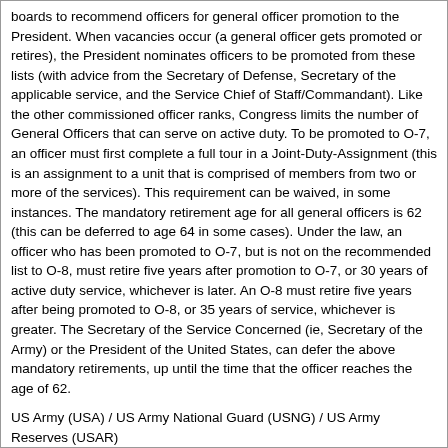boards to recommend officers for general officer promotion to the President. When vacancies occur (a general officer gets promoted or retires), the President nominates officers to be promoted from these lists (with advice from the Secretary of Defense, Secretary of the applicable service, and the Service Chief of Staff/Commandant). Like the other commissioned officer ranks, Congress limits the number of General Officers that can serve on active duty. To be promoted to O-7, an officer must first complete a full tour in a Joint-Duty-Assignment (this is an assignment to a unit that is comprised of members from two or more of the services). This requirement can be waived, in some instances. The mandatory retirement age for all general officers is 62 (this can be deferred to age 64 in some cases). Under the law, an officer who has been promoted to O-7, but is not on the recommended list to O-8, must retire five years after promotion to O-7, or 30 years of active duty service, whichever is later. An O-8 must retire five years after being promoted to O-8, or 35 years of service, whichever is greater. The Secretary of the Service Concerned (ie, Secretary of the Army) or the President of the United States, can defer the above mandatory retirements, up until the time that the officer reaches the age of 62.
US Army (USA) / US Army National Guard (USNG) / US Army Reserves (USAR)
E1 PV1 (Private E1)
E2 PV2 (Private E2)
E3 PFC (Private First Class)
E4 SPC (Specialist)
CPL (Corporal)
E5 SGT (Sergeant)
E6 SSG (Staff Sergeant)